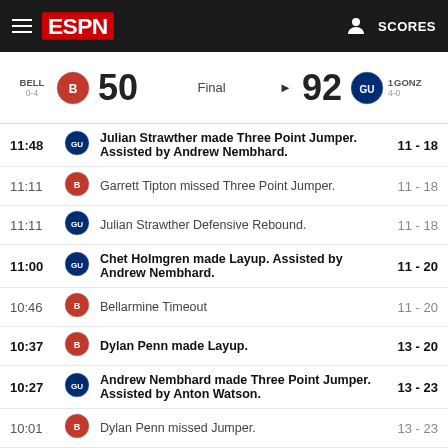ESPN SCORES
BELL 0-4  50  Final  92  1 GONZ 4-0
| Time | Team | Play | Score |
| --- | --- | --- | --- |
| 11:48 | GONZ | Julian Strawther made Three Point Jumper. Assisted by Andrew Nembhard. | 11 - 18 |
| 11:11 | BELL | Garrett Tipton missed Three Point Jumper. | 11 - 18 |
| 11:11 | GONZ | Julian Strawther Defensive Rebound. | 11 - 18 |
| 11:00 | GONZ | Chet Holmgren made Layup. Assisted by Andrew Nembhard. | 11 - 20 |
| 10:46 | BELL | Bellarmine Timeout | 11 - 20 |
| 10:37 | BELL | Dylan Penn made Layup. | 13 - 20 |
| 10:27 | GONZ | Andrew Nembhard made Three Point Jumper. Assisted by Anton Watson. | 13 - 23 |
| 10:01 | BELL | Dylan Penn missed Jumper. | 13 - 23 |
| 10:01 | GONZ | Anton Watson Defensive Rebound. | 13 - 23 |
| 9:49 | GONZ | Andrew Nembhard missed Three Point Jumper. | 13 - 23 |